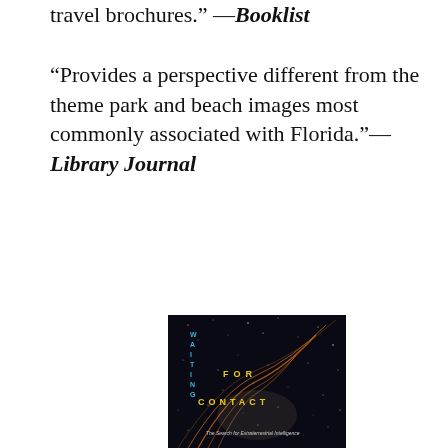travel brochures." —Booklist
“Provides a perspective different from the theme park and beach images most commonly associated with Florida.”—Library Journal
[Figure (photo): Book cover of 'Waiting for Contact: The Search for Extraterrestrial Intelligence' showing a dark starry night sky with swirling orange light trails, with the title text in blue and yellow lettering arranged vertically and diagonally.]